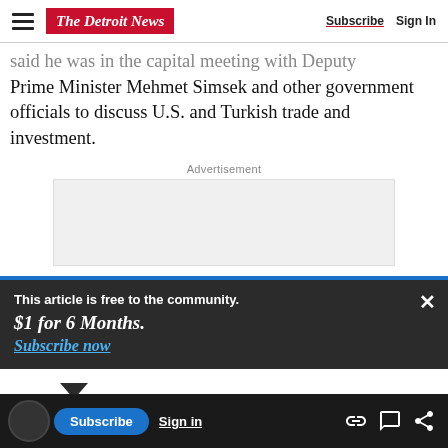The Detroit News — Subscribe | Sign In
said he was in the capital meeting with Deputy Prime Minister Mehmet Simsek and other government officials to discuss U.S. and Turkish trade and investment.
Advertisement
[Figure (other): Advertisement placeholder box (light gray empty rectangle)]
This article is free to the community.
$1 for 6 Months.
Subscribe now
Subscribe | Sign in